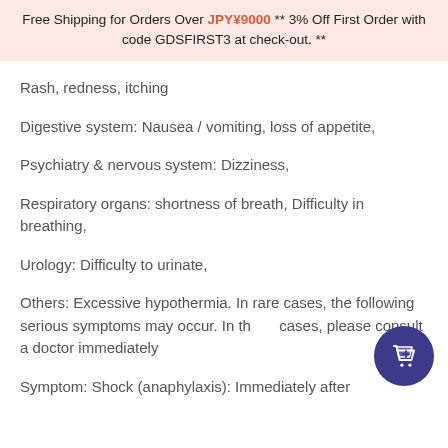Free Shipping for Orders Over JPY¥9000 ** 3% Off First Order with code GDSFIRST3 at check-out. **
Rash, redness, itching
Digestive system: Nausea / vomiting, loss of appetite,
Psychiatry & nervous system: Dizziness,
Respiratory organs: shortness of breath, Difficulty in breathing,
Urology: Difficulty to urinate,
Others: Excessive hypothermia. In rare cases, the following serious symptoms may occur. In these cases, please consult a doctor immediately.
Symptom: Shock (anaphylaxis): Immediately after